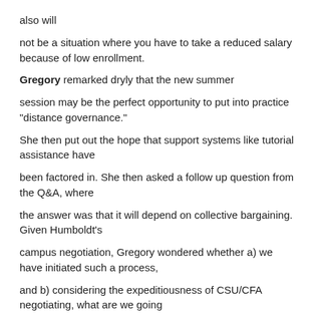also will
not be a situation where you have to take a reduced salary because of low enrollment.
Gregory remarked dryly that the new summer
session may be the perfect opportunity to put into practice "distance governance."
She then put out the hope that support systems like tutorial assistance have
been factored in. She then asked a follow up question from the Q&A, where
the answer was that it will depend on collective bargaining. Given Humboldt's
campus negotiation, Gregory wondered whether a) we have initiated such a process,
and b) considering the expeditiousness of CSU/CFA negotiating, what are we going
to do since faculty will have zero idea about how summer teaching has to do